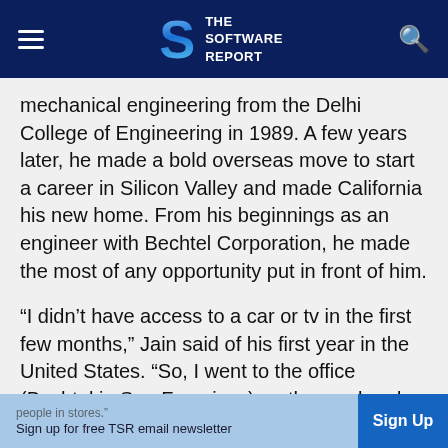THE SOFTWARE REPORT
mechanical engineering from the Delhi College of Engineering in 1989. A few years later, he made a bold overseas move to start a career in Silicon Valley and made California his new home. From his beginnings as an engineer with Bechtel Corporation, he made the most of any opportunity put in front of him.
“I didn’t have access to a car or tv in the first few months,” Jain said of his first year in the United States. “So, I went to the office (Bechtel in San Francisco) on the weekends in my spare time. I didn’t know anyone at the time, so I began befriending everyone from folks on the CalTrain, my daily bus route, and even random people in stores.”
Sign up for free TSR email newsletter | Sign Up